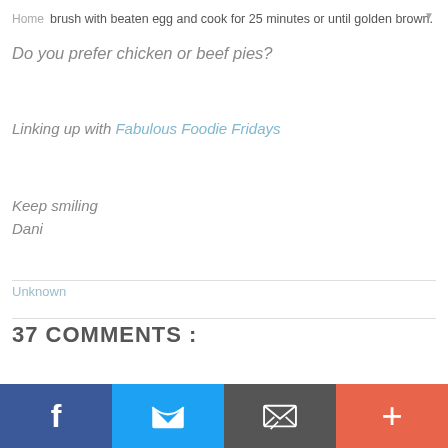Home  brush with beaten egg and cook for 25 minutes or until golden brown.
Do you prefer chicken or beef pies?
Linking up with Fabulous Foodie Fridays
Keep smiling
Dani
Unknown
37 COMMENTS :
Bec 21 May 2015 at 22:25
[Figure (other): Social sharing bar with Facebook, Twitter, Email, and Plus buttons]